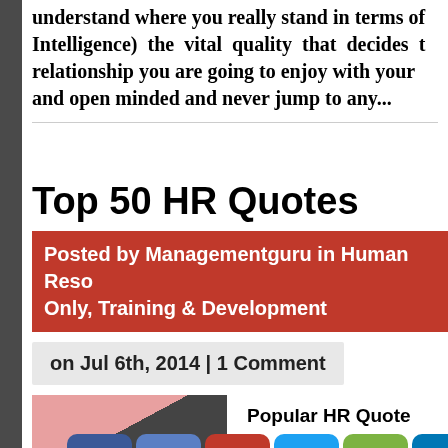understand where you really stand in terms of (Emotional Intelligence) the vital quality that decides the relationship you are going to enjoy with your and open minded and never jump to any...
Top 50 HR Quotes
Posted by Managementguru in Human Resources Only, Training & Development
on Jul 6th, 2014 | 1 Comment
[Figure (photo): Partial photo of HR-related image on left, and partial text 'Popular HR Quotes' on right, with social sharing buttons (Facebook, Like, Pinterest, Twitter, Share, LinkedIn, Crown) at the bottom]